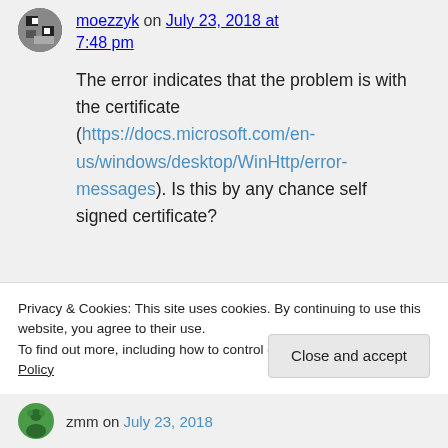moezzyk on July 23, 2018 at 7:48 pm
The error indicates that the problem is with the certificate (https://docs.microsoft.com/en-us/windows/desktop/WinHttp/error-messages). Is this by any chance self signed certificate?
Privacy & Cookies: This site uses cookies. By continuing to use this website, you agree to their use.
To find out more, including how to control cookies, see here: Cookie Policy
zmm on July 23, 2018